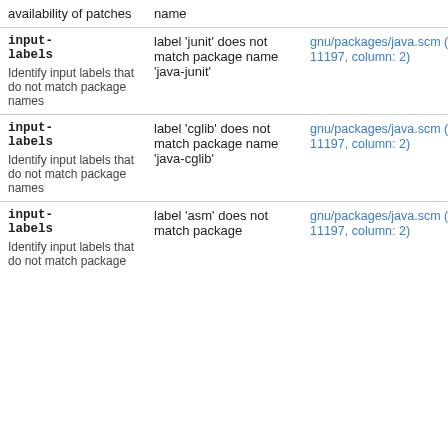|  |  |  |
| --- | --- | --- |
| availability of patches | name |  |
| input-labels
Identify input labels that do not match package names | label 'junit' does not match package name 'java-junit' | gnu/packages/java.scm (line: 11197, column: 2) |
| input-labels
Identify input labels that do not match package names | label 'cglib' does not match package name 'java-cglib' | gnu/packages/java.scm (line: 11197, column: 2) |
| input-labels
Identify input labels that do not match package names | label 'asm' does not match package name | gnu/packages/java.scm (line: 11197, column: 2) |